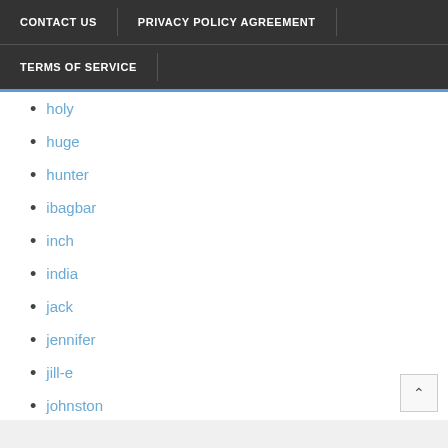CONTACT US | PRIVACY POLICY AGREEMENT
TERMS OF SERVICE
holy
huge
hunter
ibagbar
inch
india
jack
jennifer
jill-e
johnston
jsver
kailo
kate
kathy